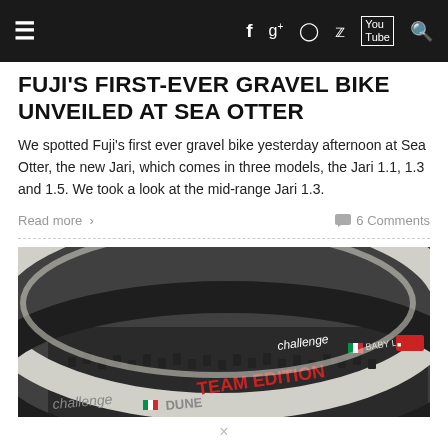≡  f  g+  ○  𝕥  You Tube  🔍
FUJI'S FIRST-EVER GRAVEL BIKE UNVEILED AT SEA OTTER
We spotted Fuji's first ever gravel bike yesterday afternoon at Sea Otter, the new Jari, which comes in three models, the Jari 1.1, 1.3 and 1.5. We took a look at the mid-range Jari 1.3.
Read more ›     💬 6 Comments
[Figure (photo): Close-up photograph of bicycle tyres including Challenge Baby Limus Team Edition and Challenge Dune tyres stacked together, showing tread patterns and branding.]
×